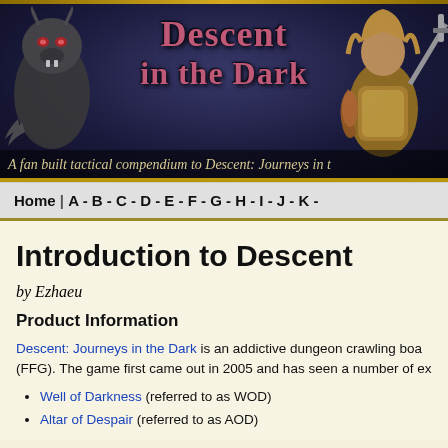[Figure (illustration): Website header banner for 'Descent in the Dark' — a fan built tactical compendium for Descent: Journeys in the Dark. Features stylized fantasy title text in red/pink gothic lettering, a monster figure on the left, and an armored warrior on the right, on a dark blue textured background.]
Home | A - B - C - D - E - F - G - H - I - J - K -
Introduction to Descent
by Ezhaeu
Product Information
Descent: Journeys in the Dark is an addictive dungeon crawling boa... (FFG). The game first came out in 2005 and has seen a number of ex...
Well of Darkness (referred to as WOD)
Altar of Despair (referred to as AOD)